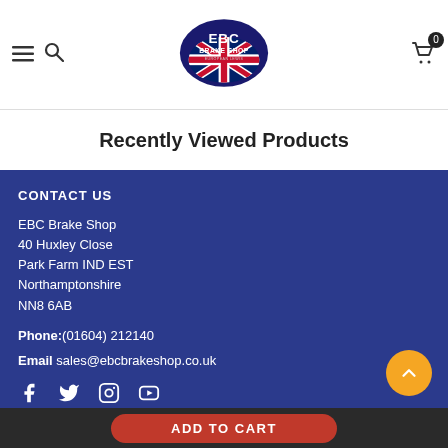[Figure (logo): EBC Brake Shop logo with UK Union Jack flag]
Recently Viewed Products
CONTACT US
EBC Brake Shop
40 Huxley Close
Park Farm IND EST
Northamptonshire
NN8 6AB
Phone:(01604) 212140
Email sales@ebcbrakeshop.co.uk
[Figure (infographic): Social media icons: Facebook, Twitter, Instagram, YouTube]
ADD TO CART